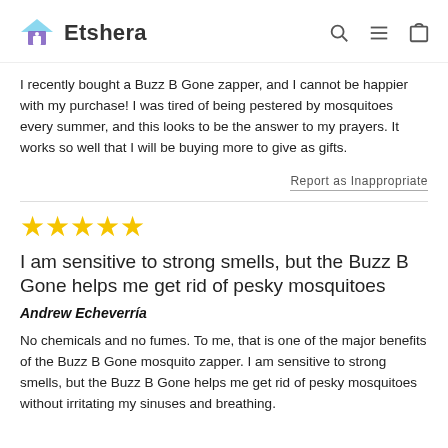Etshera
I recently bought a Buzz B Gone zapper, and I cannot be happier with my purchase! I was tired of being pestered by mosquitoes every summer, and this looks to be the answer to my prayers. It works so well that I will be buying more to give as gifts.
Report as Inappropriate
[Figure (other): Five gold stars rating]
I am sensitive to strong smells, but the Buzz B Gone helps me get rid of pesky mosquitoes
Andrew Echeverría
No chemicals and no fumes. To me, that is one of the major benefits of the Buzz B Gone mosquito zapper. I am sensitive to strong smells, but the Buzz B Gone helps me get rid of pesky mosquitoes without irritating my sinuses and breathing.